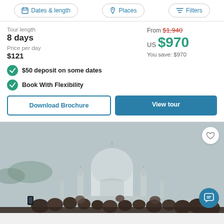Dates & length | Places | Filters
Tour length
8 days
Price per day
$121
From $1,940
US $970
You save: $970
$50 deposit on some dates
Book With Flexibility
Download Brochure | View tour
[Figure (photo): Tourists photographing the Taj Mahal; crowd of people in foreground with the iconic white domed structure visible behind them against a grey sky.]